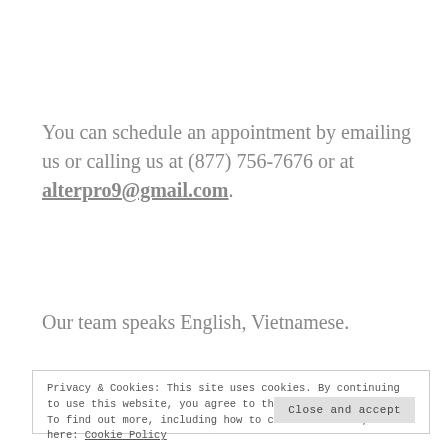You can schedule an appointment by emailing us or calling us at (877) 756-7676 or at alterpro9@gmail.com.
Our team speaks English, Vietnamese.
Privacy & Cookies: This site uses cookies. By continuing to use this website, you agree to their use. To find out more, including how to control cookies, see here: Cookie Policy